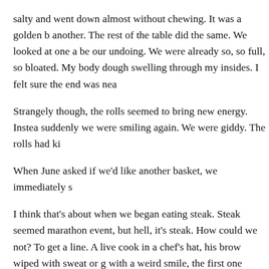salty and went down almost without chewing. It was a golden b another. The rest of the table did the same. We looked at one a be our undoing. We were already so, so full, so bloated. My body dough swelling through my insides. I felt sure the end was nea
Strangely though, the rolls seemed to bring new energy. Instea suddenly we were smiling again. We were giddy. The rolls had ki
When June asked if we'd like another basket, we immediately s
I think that's about when we began eating steak. Steak seemed marathon event, but hell, it's steak. How could we not? To get a line. A live cook in a chef's hat, his brow wiped with sweat or g with a weird smile, the first one coming off into my hands as I w greased blubber to her baby, waiting. The meat was decent thou lean. By the end the group as a whole had consumed thirteen 8 very rare slab that served as our 100th dish, complete with a s tomatoes that spelled out the milestone digit.